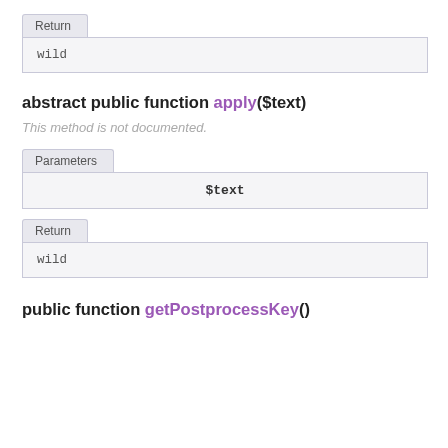| Return |
| --- |
| wild |
abstract public function apply($text)
This method is not documented.
| Parameters |
| --- |
| $text |
| Return |
| --- |
| wild |
public function getPostprocessKey()